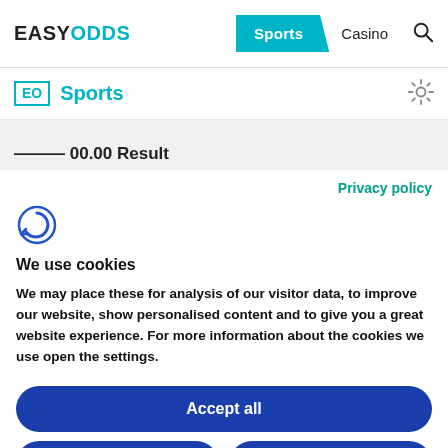EASYODDS — Sports | Casino
EO Sports
Privacy policy
[Figure (logo): Cookiebot logo — circular arrow icon in teal/blue]
We use cookies
We may place these for analysis of our visitor data, to improve our website, show personalised content and to give you a great website experience. For more information about the cookies we use open the settings.
Accept all
Deny
No, adjust